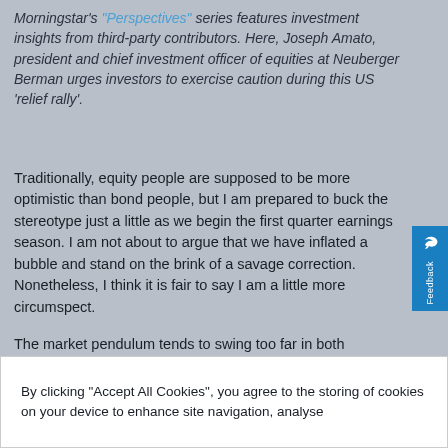Morningstar's "Perspectives" series features investment insights from third-party contributors. Here, Joseph Amato, president and chief investment officer of equities at Neuberger Berman urges investors to exercise caution during this US 'relief rally'.
Traditionally, equity people are supposed to be more optimistic than bond people, but I am prepared to buck the stereotype just a little as we begin the first quarter earnings season. I am not about to argue that we have inflated a bubble and stand on the brink of a savage correction. Nonetheless, I think it is fair to say I am a little more circumspect.
The market pendulum tends to swing too far in both directions. Does the simple recognition the world is not about to end explain why the S&P 500 Index went up more than 15% in 10 weeks? At
By clicking “Accept All Cookies”, you agree to the storing of cookies on your device to enhance site navigation, analyse